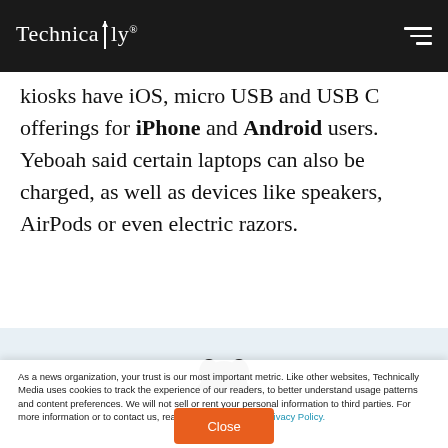Technically
kiosks have iOS, micro USB and USB C offerings for iPhone and Android users. Yeboah said certain laptops can also be charged, as well as devices like speakers, AirPods or even electric razors.
[Figure (photo): Partial image of a person with dark hair visible at top, on a light blue background]
As a news organization, your trust is our most important metric. Like other websites, Technically Media uses cookies to track the experience of our readers, to better understand usage patterns and content preferences. We will not sell or rent your personal information to third parties. For more information or to contact us, read our entire Ethics & Privacy Policy.
Close